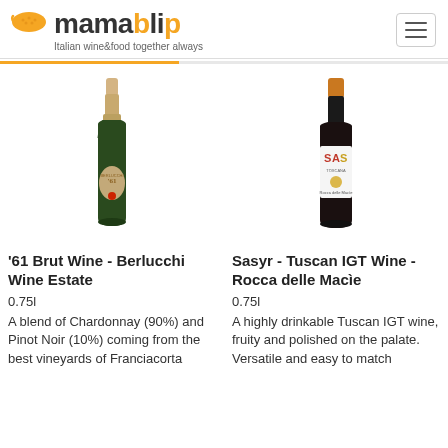[Figure (logo): Mamablip logo with golden bowl icon and text 'mamablip', tagline: 'Italian wine&food together always']
[Figure (photo): Bottle of '61 Brut Wine - Berlucchi Wine Estate sparkling wine, dark green bottle with gold foil top and circular label]
'61 Brut Wine - Berlucchi Wine Estate
0.75l
A blend of Chardonnay (90%) and Pinot Noir (10%) coming from the best vineyards of Franciacorta
[Figure (photo): Bottle of Sasyr - Tuscan IGT Wine - Rocca delle Macìe, dark red wine bottle with orange cap and label showing 'SAS' text]
Sasyr - Tuscan IGT Wine - Rocca delle Macìe
0.75l
A highly drinkable Tuscan IGT wine, fruity and polished on the palate. Versatile and easy to match